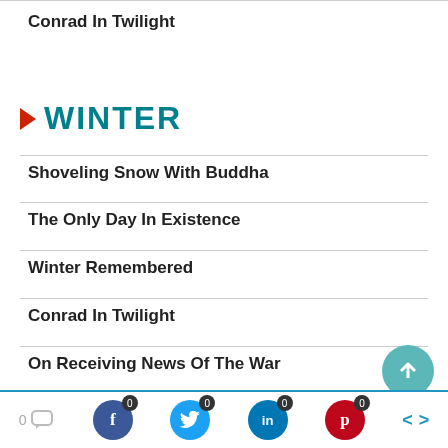Conrad In Twilight
WINTER
Shoveling Snow With Buddha
The Only Day In Existence
Winter Remembered
Conrad In Twilight
On Receiving News Of The War
The Frost Spirit
0 [comment] 0 [facebook] 0 [twitter] 0 [linkedin] 0 [pinterest] < >